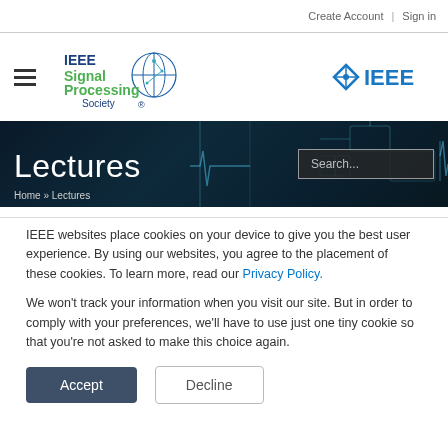Create Account | Sign in
[Figure (logo): IEEE Signal Processing Society logo with globe graphic and IEEE diamond logo on the right]
[Figure (screenshot): Dark technology banner with glowing circuit lines, 'Lectures' heading, Search box, and breadcrumb 'Home » Lectures']
IEEE websites place cookies on your device to give you the best user experience. By using our websites, you agree to the placement of these cookies. To learn more, read our Privacy Policy.
We won't track your information when you visit our site. But in order to comply with your preferences, we'll have to use just one tiny cookie so that you're not asked to make this choice again.
Accept
Decline